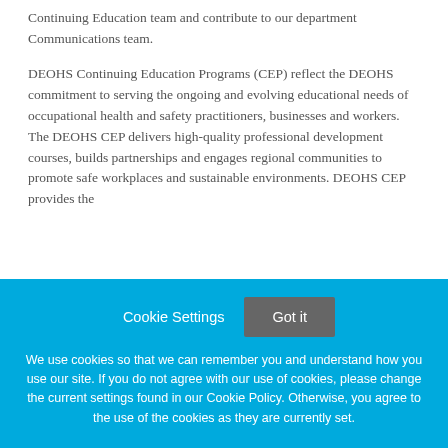Continuing Education team and contribute to our department Communications team.
DEOHS Continuing Education Programs (CEP) reflect the DEOHS commitment to serving the ongoing and evolving educational needs of occupational health and safety practitioners, businesses and workers. The DEOHS CEP delivers high-quality professional development courses, builds partnerships and engages regional communities to promote safe workplaces and sustainable environments. DEOHS CEP provides the
Cookie Settings
Got it
We use cookies so that we can remember you and understand how you use our site. If you do not agree with our use of cookies, please change the current settings found in our Cookie Policy. Otherwise, you agree to the use of the cookies as they are currently set.